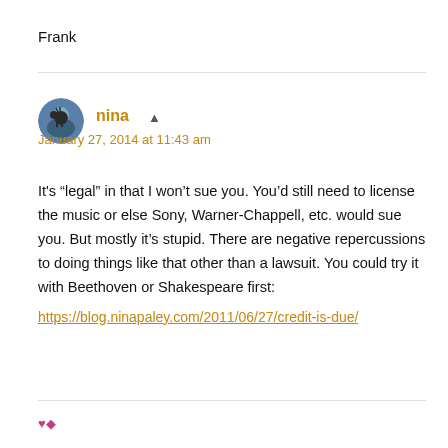Frank
nina ▲
January 27, 2014 at 11:43 am
It's “legal” in that I won’t sue you. You’d still need to license the music or else Sony, Warner-Chappell, etc. would sue you. But mostly it’s stupid. There are negative repercussions to doing things like that other than a lawsuit. You could try it with Beethoven or Shakespeare first:
https://blog.ninapaley.com/2011/06/27/credit-is-due/